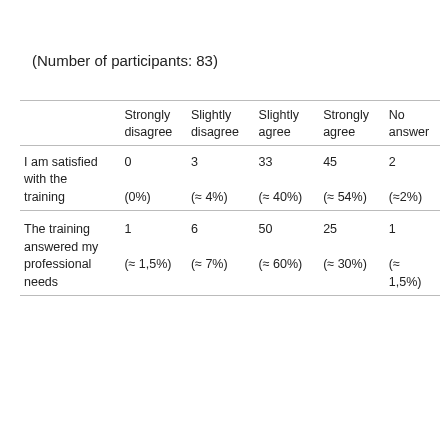(Number of participants: 83)
|  | Strongly disagree | Slightly disagree | Slightly agree | Strongly agree | No answer |
| --- | --- | --- | --- | --- | --- |
| I am satisfied with the training | 0
(0%) | 3
(≈ 4%) | 33
(≈ 40%) | 45
(≈ 54%) | 2
(≈2%) |
| The training answered my professional needs | 1
(≈ 1,5%) | 6
(≈ 7%) | 50
(≈ 60%) | 25
(≈ 30%) | 1
(≈ 1,5%) |